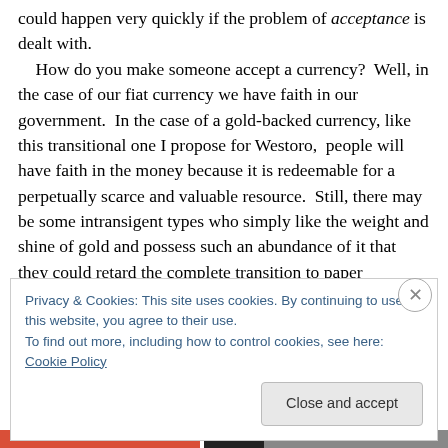could happen very quickly if the problem of acceptance is dealt with.
    How do you make someone accept a currency?  Well, in the case of our fiat currency we have faith in our government.  In the case of a gold-backed currency, like this transitional one I propose for Westoro,  people will have faith in the money because it is redeemable for a perpetually scarce and valuable resource.  Still, there may be some intransigent types who simply like the weight and shine of gold and possess such an abundance of it that they could retard the complete transition to paper
Privacy & Cookies: This site uses cookies. By continuing to use this website, you agree to their use.
To find out more, including how to control cookies, see here: Cookie Policy
Close and accept